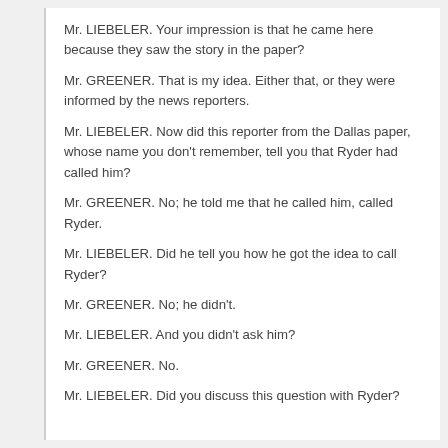Mr. LIEBELER. Your impression is that he came here because they saw the story in the paper?
Mr. GREENER. That is my idea. Either that, or they were informed by the news reporters.
Mr. LIEBELER. Now did this reporter from the Dallas paper, whose name you don't remember, tell you that Ryder had called him?
Mr. GREENER. No; he told me that he called him, called Ryder.
Mr. LIEBELER. Did he tell you how he got the idea to call Ryder?
Mr. GREENER. No; he didn't.
Mr. LIEBELER. And you didn't ask him?
Mr. GREENER. No.
Mr. LIEBELER. Did you discuss this question with Ryder?